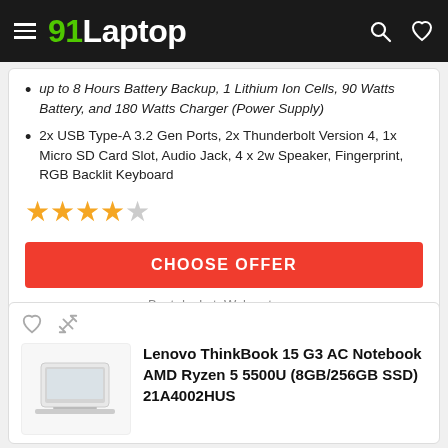91Laptop
up to 8 Hours Battery Backup, 1 Lithium Ion Cells, 90 Watts Battery, and 180 Watts Charger (Power Supply)
2x USB Type-A 3.2 Gen Ports, 2x Thunderbolt Version 4, 1x Micro SD Card Slot, Audio Jack, 4 x 2w Speaker, Fingerprint, RGB Backlit Keyboard
★★★★☆
CHOOSE OFFER
Best deal at: Walmart.com
[Figure (photo): Laptop product image - white laptop]
Lenovo ThinkBook 15 G3 AC Notebook AMD Ryzen 5 5500U (8GB/256GB SSD) 21A4002HUS